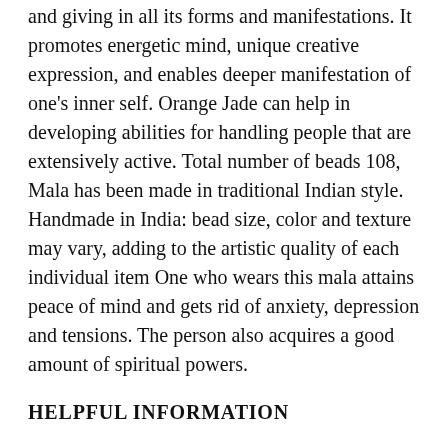and giving in all its forms and manifestations. It promotes energetic mind, unique creative expression, and enables deeper manifestation of one's inner self. Orange Jade can help in developing abilities for handling people that are extensively active. Total number of beads 108, Mala has been made in traditional Indian style. Handmade in India: bead size, color and texture may vary, adding to the artistic quality of each individual item One who wears this mala attains peace of mind and gets rid of anxiety, depression and tensions. The person also acquires a good amount of spiritual powers.
HELPFUL INFORMATION
What is a Mala? A Mala is a string of beads used to count mantras (Sanskrit prayers) in sets of 108 repetitions.